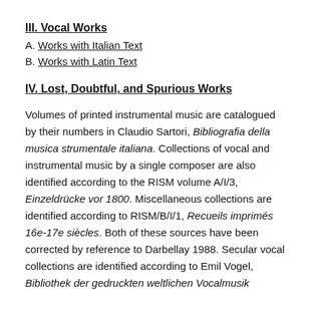III. Vocal Works
A. Works with Italian Text
B. Works with Latin Text
IV. Lost, Doubtful, and Spurious Works
Volumes of printed instrumental music are catalogued by their numbers in Claudio Sartori, Bibliografia della musica strumentale italiana. Collections of vocal and instrumental music by a single composer are also identified according to the RISM volume A/I/3, Einzeldrücke vor 1800. Miscellaneous collections are identified according to RISM/B/I/1, Recueils imprimés 16e-17e siècles. Both of these sources have been corrected by reference to Darbellay 1988. Secular vocal collections are identified according to Emil Vogel, Bibliothek der gedruckten weltlichen Vocalmusik